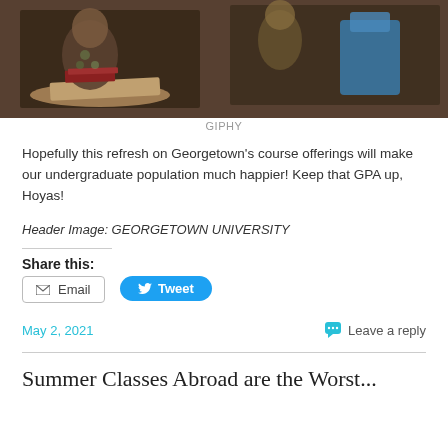[Figure (photo): Photo of students sitting at desks in a classroom, appears to be from a TV show or movie, vintage/retro look]
GIPHY
Hopefully this refresh on Georgetown's course offerings will make our undergraduate population much happier! Keep that GPA up, Hoyas!
Header Image: GEORGETOWN UNIVERSITY
Share this:
Email
Tweet
May 2, 2021
Leave a reply
Summer Classes Abroad are the Worst...